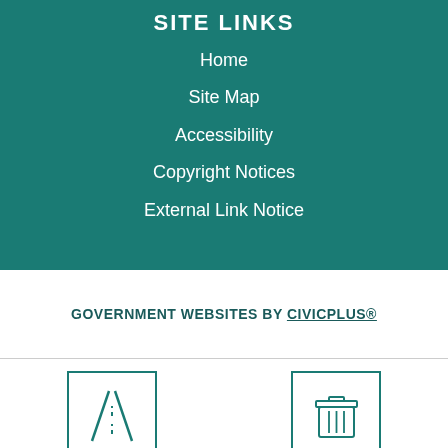SITE LINKS
Home
Site Map
Accessibility
Copyright Notices
External Link Notice
GOVERNMENT WEBSITES BY CIVICPLUS®
[Figure (illustration): Road/highway icon inside a teal-bordered square box]
[Figure (illustration): Trash can icon inside a teal-bordered square box]
Select Language (Google Translate widget)
ROADS
TRASH COLLECTION